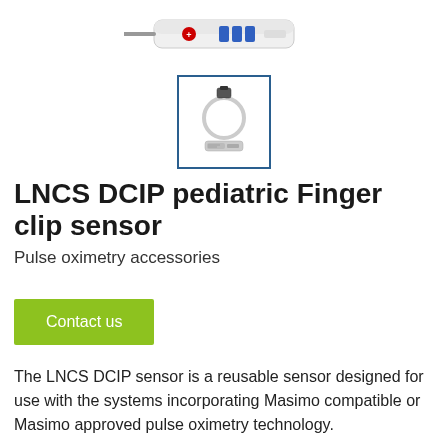[Figure (photo): Partial view of a medical monitoring device (top portion cropped) with indicator lights and cable connections visible at top of page]
[Figure (photo): Thumbnail image of LNCS DCIP pediatric finger clip sensor showing a white sensor with cable coiled, displayed in a blue-bordered box]
LNCS DCIP pediatric Finger clip sensor
Pulse oximetry accessories
Contact us
The LNCS DCIP sensor is a reusable sensor designed for use with the systems incorporating Masimo compatible or Masimo approved pulse oximetry technology.